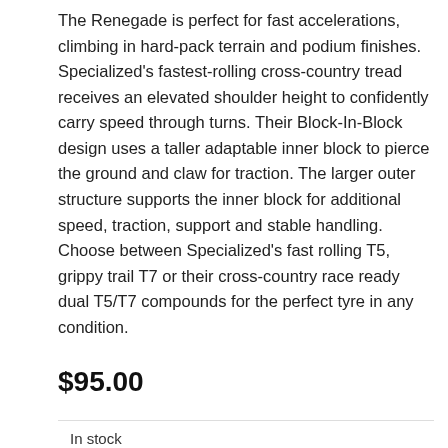The Renegade is perfect for fast accelerations, climbing in hard-pack terrain and podium finishes. Specialized's fastest-rolling cross-country tread receives an elevated shoulder height to confidently carry speed through turns. Their Block-In-Block design uses a taller adaptable inner block to pierce the ground and claw for traction. The larger outer structure supports the inner block for additional speed, traction, support and stable handling. Choose between Specialized's fast rolling T5, grippy trail T7 or their cross-country race ready dual T5/T7 compounds for the perfect tyre in any condition.
$95.00
In stock